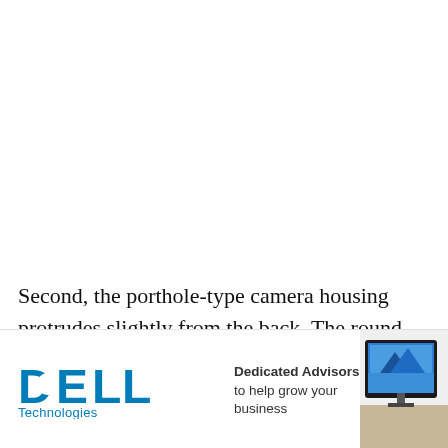Second, the porthole-type camera housing protrudes slightly from the back. The round shape is not common, and the size helps to explain the wide F1.8 aperture, which is far more open and
[Figure (advertisement): Dell Technologies advertisement banner with Dell logo on left, tagline 'Dedicated Advisors to help grow your business' in center, and a photo of a woman working at a dual-monitor Dell computer setup on the right.]